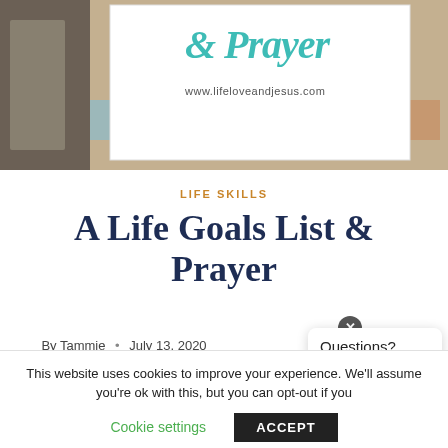[Figure (photo): Hero image showing a book/Bible on a decorated background with a white card overlay displaying cursive teal text '& Prayer' and www.lifeloveandjesus.com]
LIFE SKILLS
A Life Goals List & Prayer
By Tammie • July 13, 2020
This website uses cookies to improve your experience. We'll assume you're ok with this, but you can opt-out if you
Cookie settings   ACCEPT